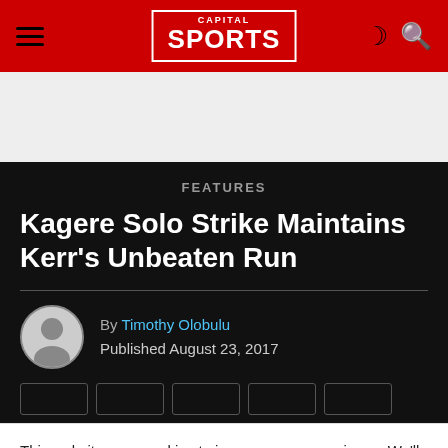Capital Sports
FEATURES
Kagere Solo Strike Maintains Kerr's Unbeaten Run
By Timothy Olobulu
Published August 23, 2017
This website uses cookies to improve your experience. We'll assume you're ok with this, but you can opt-out if you wish.
Cookie settings  ACCEPT